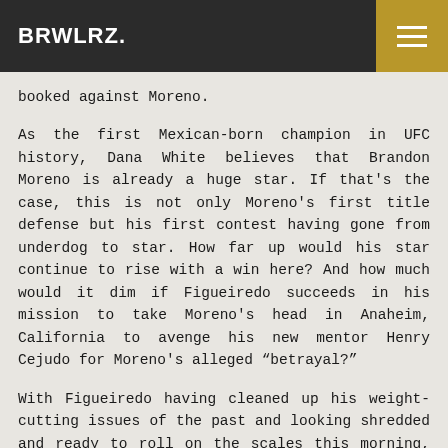BRWLRZ.
booked against Moreno.
As the first Mexican-born champion in UFC history, Dana White believes that Brandon Moreno is already a huge star. If that's the case, this is not only Moreno's first title defense but his first contest having gone from underdog to star. How far up would his star continue to rise with a win here? And how much would it dim if Figueiredo succeeds in his mission to take Moreno's head in Anaheim, California to avenge his new mentor Henry Cejudo for Moreno's alleged "betrayal?"
With Figueiredo having cleaned up his weight-cutting issues of the past and looking shredded and ready to roll on the scales this morning, we may see the best version of the former champion tomorrow.